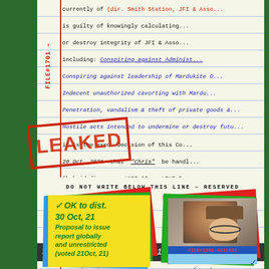currently of (dir. Smith Station, JFI & Asso...
is guilty of knowingly calculating...
or destroy integrity of JFI & Asso...
including: Conspiring against Administ...
Conspiring against leadership of Mardukite O...
Indecent unauthorized cavorting with Mardu...
Penetration, vandalism & theft of private goods &...
Hostile acts intended to undermine or destroy futu...
it is the exec. decision of this Co...
20 Oct, 2021 that "Chris" be handl...
(hybrid dir. proc #033-03 or LRHS P...
DO NOT WRITE BELOW THIS LINE – RESERVED
[Figure (other): LEAKED red stamp overlay on document]
[Figure (other): Yellow sticky note with green text: OK to dist. 30 Oct, 21 / Proposal to issue report globally and unrestricted (voted 21Oct, 21). Stacked with blue, green, red paper notes.]
[Figure (photo): Photo of a person wearing a hat and glasses, labeled FILE#1701-A211021, on stacked colored paper notes.]
Series-033-03 File #1701-A211021